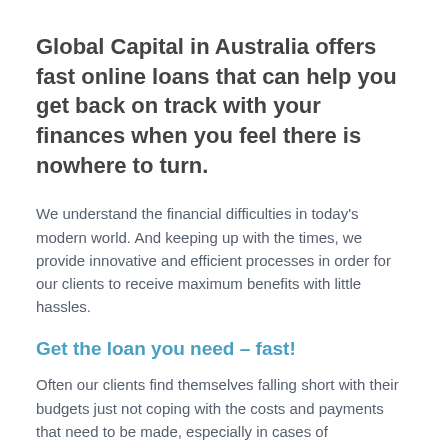Global Capital in Australia offers fast online loans that can help you get back on track with your finances when you feel there is nowhere to turn.
We understand the financial difficulties in today's modern world. And keeping up with the times, we provide innovative and efficient processes in order for our clients to receive maximum benefits with little hassles.
Get the loan you need – fast!
Often our clients find themselves falling short with their budgets just not coping with the costs and payments that need to be made, especially in cases of emergencies when cash is needed that day!